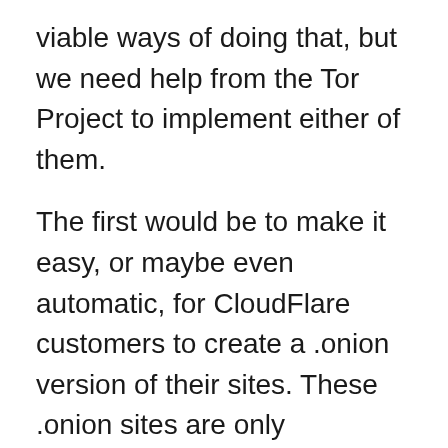viable ways of doing that, but we need help from the Tor Project to implement either of them.
The first would be to make it easy, or maybe even automatic, for CloudFlare customers to create a .onion version of their sites. These .onion sites are only accessible via the Tor network and therefore less likely to be targeted by automated attacks. This was Facebook's solution when faced with the same problem. We think it's elegant.
The problem is generating SSL certificates to encrypt traffic to the .onion sites. Tor uses